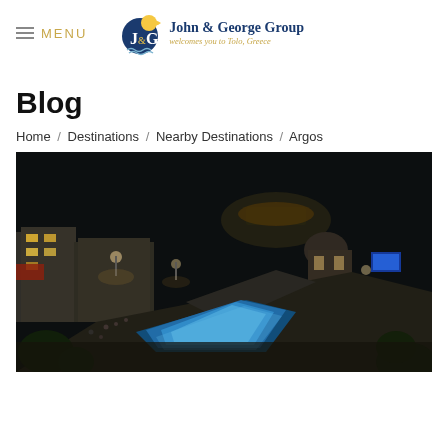MENU | John & George Group — welcomes you to Tolo, Greece
Blog
Home / Destinations / Nearby Destinations / Argos
[Figure (photo): Night-time aerial view of Argos, Greece, showing an illuminated town square with a glowing blue water feature, palm trees, surrounding buildings, people gathered in the square, a church dome, and a hilltop fortification lit in the background against a dark sky.]